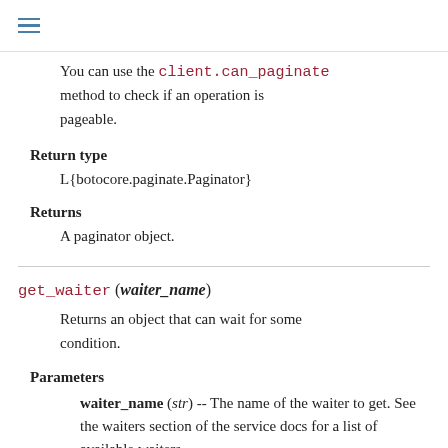≡
You can use the client.can_paginate method to check if an operation is pageable.
Return type
L{botocore.paginate.Paginator}
Returns
A paginator object.
get_waiter (waiter_name)
Returns an object that can wait for some condition.
Parameters
waiter_name (str) -- The name of the waiter to get. See the waiters section of the service docs for a list of available waiters.